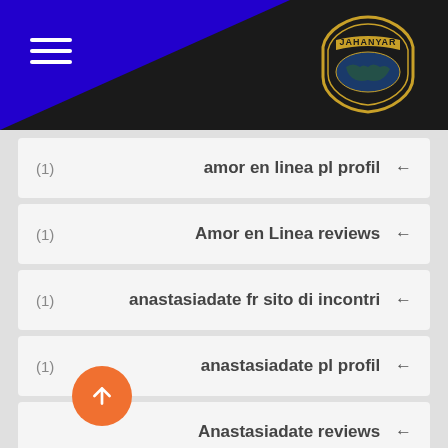[Figure (logo): Jahanyar logo with world map badge in gold and dark colors, top right header area]
(1)   amor en linea pl profil ←
(1)   Amor en Linea reviews ←
(1)   anastasiadate fr sito di incontri ←
(1)   anastasiadate pl profil ←
Anastasiadate reviews ←
(1)   Android best casinos ←